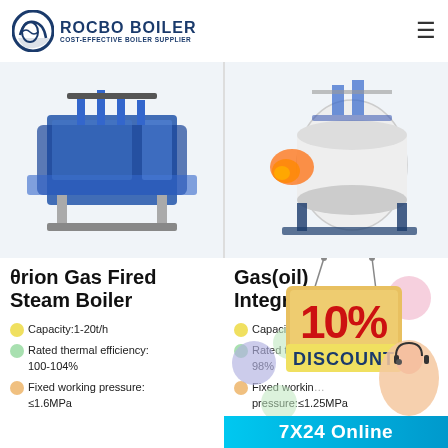ROCBO BOILER — COST-EFFECTIVE BOILER SUPPLIER
[Figure (photo): Blue industrial gas fired steam boiler unit]
[Figure (photo): White cylindrical gas oil fired integrated boiler]
θrion Gas Fired Steam Boiler
Capacity:1-20t/h
Rated thermal efficiency: 100-104%
Fixed working pressure: ≤1.6MPa
Gas(oil) Integrated [Boiler]
Capacity:0.7-...
Rated thermal efficiency: 98%
Fixed working pressure:≤1.25MPa
[Figure (infographic): 10% DISCOUNT promotional banner with hanging sign and colorful bubbles, plus customer service representative photo]
7X24 Online